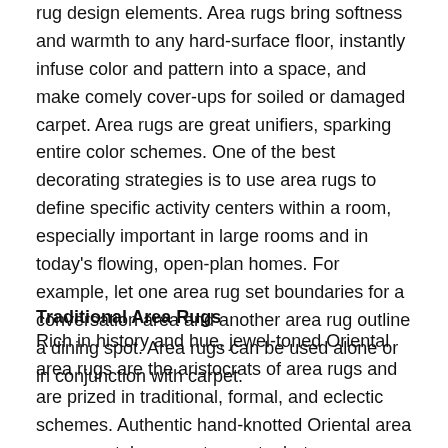rug design elements. Area rugs bring softness and warmth to any hard-surface floor, instantly infuse color and pattern into a space, and make comely cover-ups for soiled or damaged carpet. Area rugs are great unifiers, sparking entire color schemes. One of the best decorating strategies is to use area rugs to define specific activity centers within a room, especially important in large rooms and in today's flowing, open-plan homes. For example, let one area rug set boundaries for a conversation area and another area rug outline a dining spot. Area rugs can be used alone or in conjunction with carpet.
Traditional Area Rugs
Rich in history and hue, jewel-toned Oriental area rugs are the aristocrats of area rugs and are prized in traditional, formal, and eclectic schemes. Authentic hand-knotted Oriental area rugs may take years to create, but can wear well for more than a century. Equally elegant and formal are French area rug classics, such as Aubusson rugs